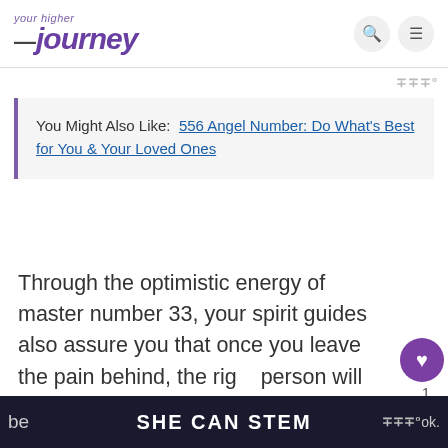your higher journey
You Might Also Like: 556 Angel Number: Do What's Best for You & Your Loved Ones
Through the optimistic energy of master number 33, your spirit guides also assure you that once you leave the pain behind, the right person will come into your life eventually.
While you wait to find love again, you are be...ok.
SHE CAN STEM